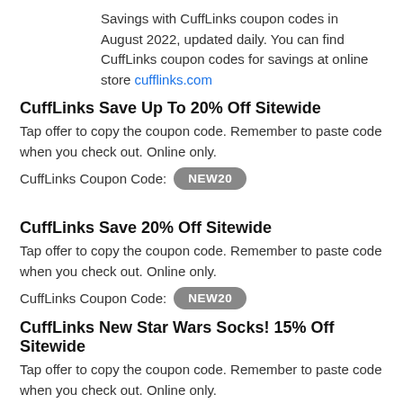Savings with CuffLinks coupon codes in August 2022, updated daily. You can find CuffLinks coupon codes for savings at online store cufflinks.com
CuffLinks Save Up To 20% Off Sitewide
Tap offer to copy the coupon code. Remember to paste code when you check out. Online only.
CuffLinks Coupon Code: NEW20
CuffLinks Save 20% Off Sitewide
Tap offer to copy the coupon code. Remember to paste code when you check out. Online only.
CuffLinks Coupon Code: NEW20
CuffLinks New Star Wars Socks! 15% Off Sitewide
Tap offer to copy the coupon code. Remember to paste code when you check out. Online only.